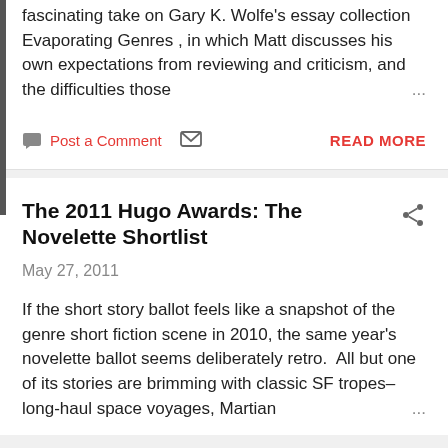fascinating take on Gary K. Wolfe's essay collection Evaporating Genres , in which Matt discusses his own expectations from reviewing and criticism, and the difficulties those …
Post a Comment   READ MORE
The 2011 Hugo Awards: The Novelette Shortlist
May 27, 2011
If the short story ballot feels like a snapshot of the genre short fiction scene in 2010, the same year's novelette ballot seems deliberately retro.  All but one of its stories are brimming with classic SF tropes–long-haul space voyages, Martian …